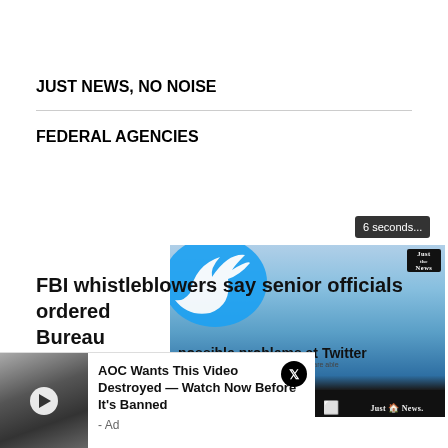JUST NEWS, NO NOISE
FEDERAL AGENCIES
[Figure (screenshot): Video player showing 'possible problems at Twitter' with Twitter/X logo, video controls at bottom including pause, volume, settings, fullscreen, and Just the News branding. A countdown timer reading '6 seconds...' appears at top right.]
[Figure (screenshot): Advertisement overlay: 'AOC Wants This Video Destroyed — Watch Now Before It's Banned - Ad' with thumbnail showing two people, next to X (Twitter) logo icon.]
FBI whistleblowers say senior officials ordered Bureau